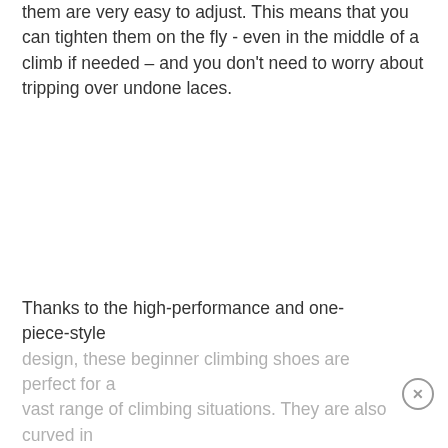them are very easy to adjust. This means that you can tighten them on the fly - even in the middle of a climb if needed – and you don't need to worry about tripping over undone laces.
Thanks to the high-performance and one-piece-style design, these beginner climbing shoes are perfect for a vast range of climbing situations. They are also curved in